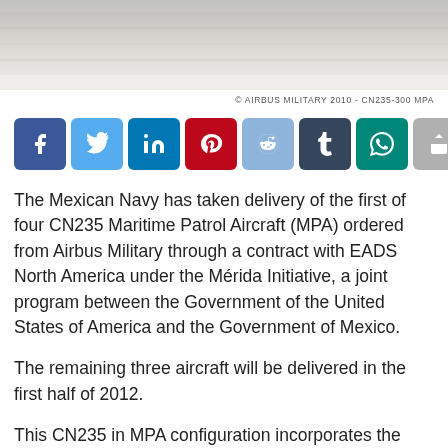[Figure (photo): Close-up photograph of an aircraft fuselage exterior, showing metallic surface texture with light reflections]
© AIRBUS MILITARY 2010 - CN235-300 MPA
[Figure (infographic): Row of social media sharing buttons: Facebook, Twitter, LinkedIn, Pinterest, Reddit, Tumblr, WhatsApp, and a generic share button]
The Mexican Navy has taken delivery of the first of four CN235 Maritime Patrol Aircraft (MPA) ordered from Airbus Military through a contract with EADS North America under the Mérida Initiative, a joint program between the Government of the United States of America and the Government of Mexico.
The remaining three aircraft will be delivered in the first half of 2012.
This CN235 in MPA configuration incorporates the latest technology developed for surveillance over the